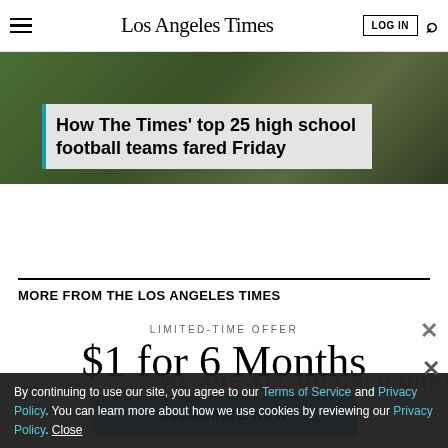Los Angeles Times — LOG IN
[Figure (photo): Football players on a field, dark green background, action shot]
How The Times' top 25 high school football teams fared Friday
MORE FROM THE LOS ANGELES TIMES
LIMITED-TIME OFFER
$1 for 6 Months
SUBSCRIBE NOW
By continuing to use our site, you agree to our Terms of Service and Privacy Policy. You can learn more about how we use cookies by reviewing our Privacy Policy. Close